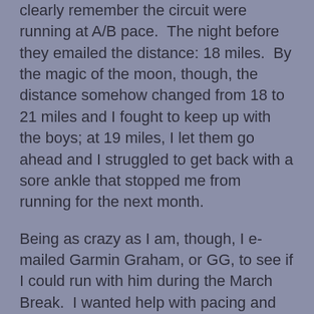clearly remember the circuit were running at A/B pace.  The night before they emailed the distance: 18 miles.  By the magic of the moon, though, the distance somehow changed from 18 to 21 miles and I fought to keep up with the boys; at 19 miles, I let them go ahead and I struggled to get back with a sore ankle that stopped me from running for the next month.
Being as crazy as I am, though, I e-mailed Garmin Graham, or GG, to see if I could run with him during the March Break.  I wanted help with pacing and he is the best guy to help me out with that.  With Shawn still out of commission and Renaud away, I figured the chances of his agreeing to run with me were fairly good.  So Saturday morning at 6:20, GG picked me up for a 30K run.
With clear memories of last year's traumatic ankle